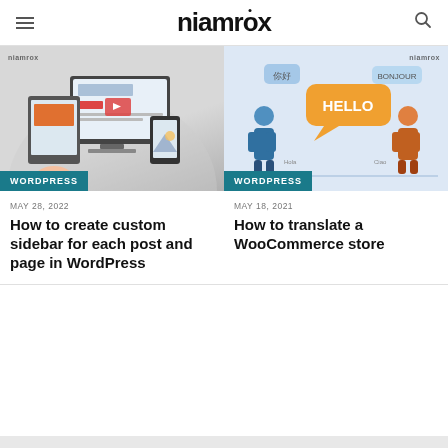niamrox
[Figure (illustration): Illustration of web/digital devices with screens and media icons, with niamrox watermark and WORDPRESS badge]
MAY 28, 2022
How to create custom sidebar for each post and page in WordPress
[Figure (illustration): Illustration of people with speech bubbles saying HELLO, 你好, Bonjour, with niamrox watermark and WORDPRESS badge]
MAY 18, 2021
How to translate a WooCommerce store